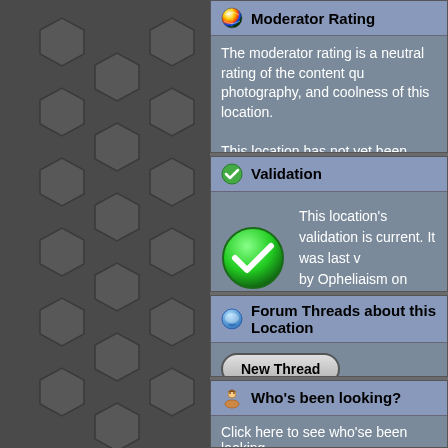Moderator Rating
The moderator rating is a neutral rating of the content qu photography, and coolness of this location.

This location has not yet been rated by a moderator.
Validation
This location's validation is current. It was last v by Opheliaism on 3/26/2011 9:32 PM.
Forum Threads about this Location
New Thread
Who's been looking?
Click here to see who'se been looking.